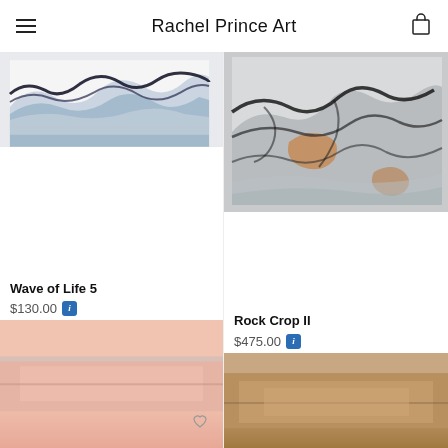Rachel Prince Art
[Figure (photo): Abstract painting – Wave of Life 5, blue and black wave forms on white background]
[Figure (photo): Abstract painting – Rock Crop II, grey and orange textured rock forms]
Wave of Life 5
$130.00
Rock Crop II
$475.00
[Figure (photo): Partial view of artwork with pink/coral tones, bottom of page]
[Figure (photo): Partial view of artwork with warm brown/tan tones, bottom of page]